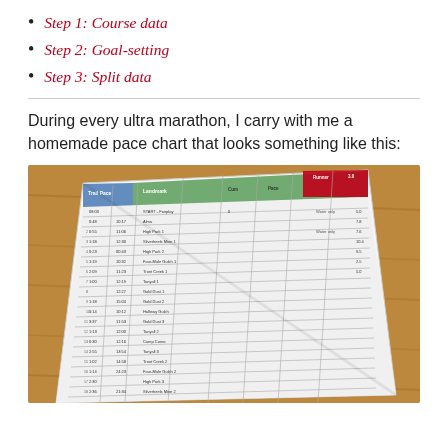Step 1: Course data
Step 2: Goal-setting
Step 3: Split data
During every ultra marathon, I carry with me a homemade pace chart that looks something like this:
[Figure (photo): Photo of a folded homemade pace chart table on a wooden surface, showing columns for landmark, trail pace, cumulative miles, time of day, and other running split data for an ultra marathon course.]